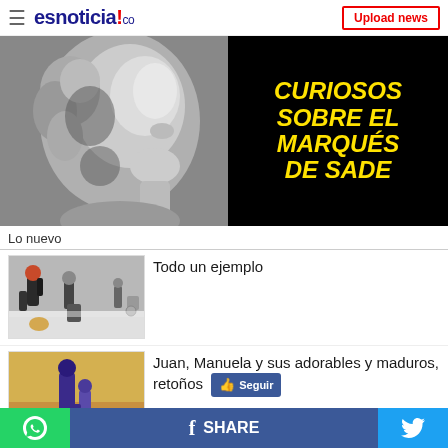esnoticia!co — Upload news
[Figure (photo): Banner image: portrait illustration of a historical figure on the left (black and white), yellow bold italic text on black background reading 'CURIOSOS SOBRE EL MARQUÉS DE SADE']
Lo nuevo
[Figure (photo): Thumbnail of people in an airport or indoor space, one person appearing to dance or play with a child on the floor]
Todo un ejemplo
[Figure (photo): Thumbnail of two silhouettes, an adult and child, outdoors with warm golden background]
Juan, Manuela y sus adorables y maduros, retoños
WhatsApp share | f SHARE | Twitter share